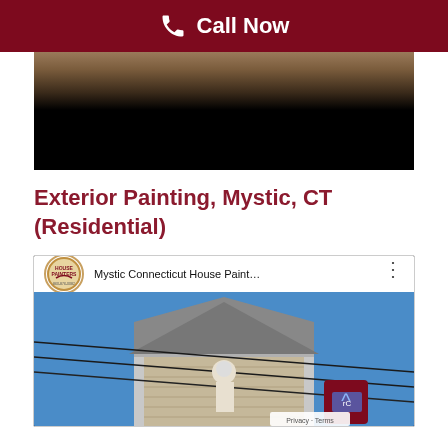Call Now
[Figure (screenshot): Video player showing a dark interior painting scene with a black lower half]
Exterior Painting, Mystic, CT (Residential)
[Figure (screenshot): YouTube video thumbnail showing 'Mystic Connecticut House Paint...' with a house painter on a rooftop against a blue sky]